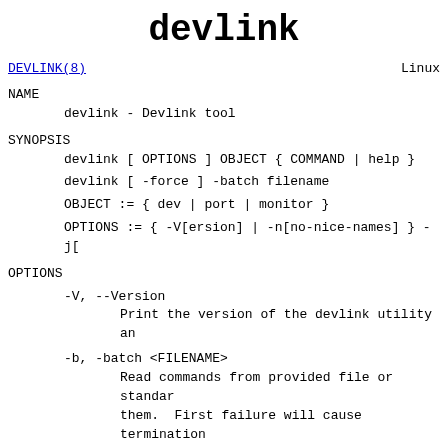devlink
DEVLINK(8)                                        Linux
NAME
devlink - Devlink tool
SYNOPSIS
devlink [ OPTIONS ] OBJECT { COMMAND | help }
devlink [ -force ] -batch filename
OBJECT := { dev | port | monitor }
OPTIONS := { -V[ersion] | -n[no-nice-names] } -j[
OPTIONS
-V, --Version
        Print the version of the devlink utility an
-b, -batch <FILENAME>
        Read commands from provided file or standar
        them.  First failure will cause termination
-force Don't terminate devlink on errors in batch
       any errors during execution of the commands
       return code will be non zero.